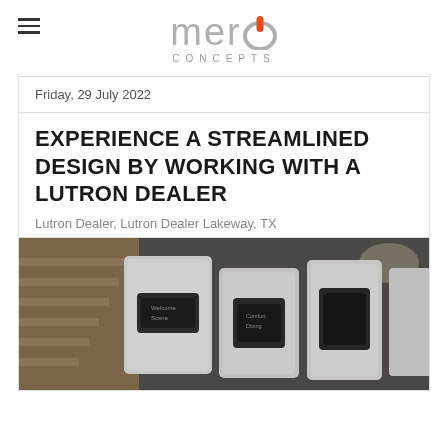mero CONCEPTS
Friday, 29 July 2022
EXPERIENCE A STREAMLINED DESIGN BY WORKING WITH A LUTRON DEALER
Lutron Dealer, Lutron Dealer Lakeway, TX
[Figure (photo): Photo of Lutron smart lighting control panels/switches in brushed silver finish, displayed in front of a modern interior with wooden staircase in the background]